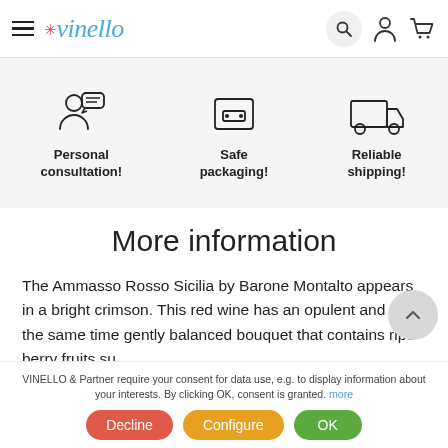Vinello - navigation header with logo, hamburger menu, search, account and cart icons
[Figure (illustration): Three icons in a row on a grey background: a person with speech bubble (Personal consultation!), a box/packaging (Safe packaging!), and a delivery truck (Reliable shipping!)]
More information
The Ammasso Rosso Sicilia by Barone Montalto appears in a bright crimson. This red wine has an opulent and at the same time gently balanced bouquet that contains ripe berry fruits such as blackcurrants, blueberries, raspberries and also nuances cherry jam. Candied notes and roasted sounds are added
VINELLO & Partner require your consent for data use, e.g. to display information about your interests. By clicking OK, consent is granted. more
Decline | Configure | OK